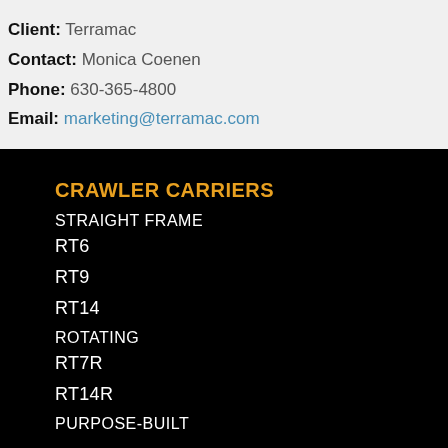Client: Terramac
Contact: Monica Coenen
Phone: 630-365-4800
Email: marketing@terramac.com
CRAWLER CARRIERS
STRAIGHT FRAME
RT6
RT9
RT14
ROTATING
RT7R
RT14R
PURPOSE-BUILT